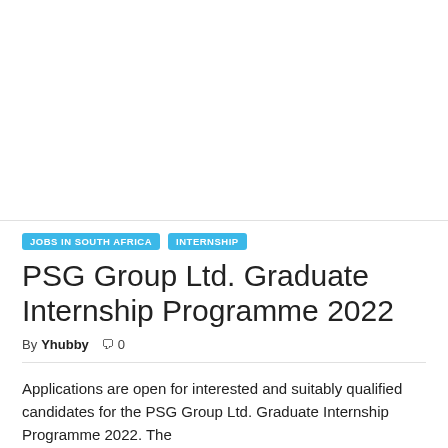[Figure (other): Advertisement / blank white area at top of page]
JOBS IN SOUTH AFRICA
INTERNSHIP
PSG Group Ltd. Graduate Internship Programme 2022
By Yhubby  💬 0
Applications are open for interested and suitably qualified candidates for the PSG Group Ltd. Graduate Internship Programme 2022. The